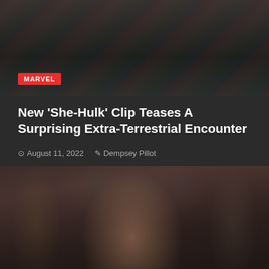[Figure (photo): Dark scene from She-Hulk with MARVEL badge in bottom left corner]
New 'She-Hulk' Clip Teases A Surprising Extra-Terrestrial Encounter
August 11, 2022  Dempsey Pillot
[Figure (photo): Young woman with long curly brown hair in a ornate room setting]
Shop Walgreens Brand Walgreens Photo